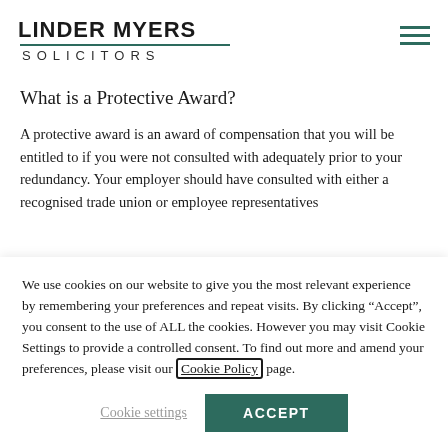LINDER MYERS SOLICITORS
What is a Protective Award?
A protective award is an award of compensation that you will be entitled to if you were not consulted with adequately prior to your redundancy. Your employer should have consulted with either a recognised trade union or employee representatives
We use cookies on our website to give you the most relevant experience by remembering your preferences and repeat visits. By clicking “Accept”, you consent to the use of ALL the cookies. However you may visit Cookie Settings to provide a controlled consent. To find out more and amend your preferences, please visit our Cookie Policy page.